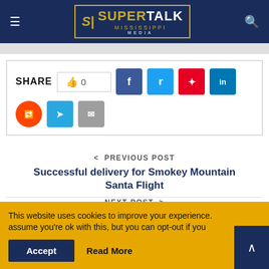SuperTalk Mississippi Media
[Figure (screenshot): Share buttons row with like counter showing 0, Facebook, Twitter, Pinterest, LinkedIn, Reddit, Telegram, and Email share icons]
< PREVIOUS POST
Successful delivery for Smokey Mountain Santa Flight
NEXT POST >
It's beginning to look alot like sunshine for
This website uses cookies to improve your experience. assume you're ok with this, but you can opt-out if you Accept Read More